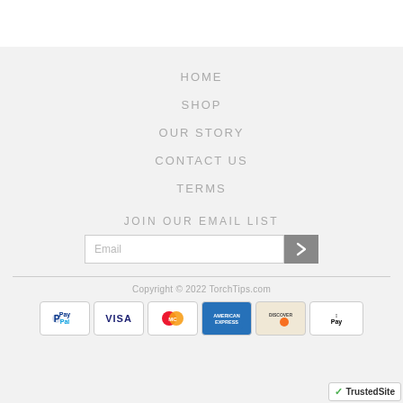HOME
SHOP
OUR STORY
CONTACT US
TERMS
JOIN OUR EMAIL LIST
Email
Copyright © 2022 TorchTips.com
[Figure (logo): Payment method icons: PayPal, Visa, MasterCard, American Express, Discover, Apple Pay]
[Figure (logo): TrustedSite badge with green checkmark]